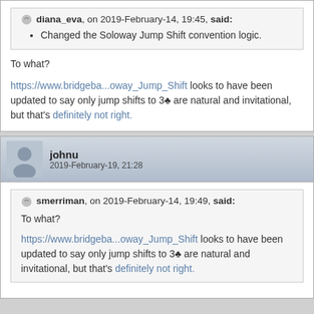diana_eva, on 2019-February-14, 19:45, said:
Changed the Soloway Jump Shift convention logic.
To what?
https://www.bridgeba...oway_Jump_Shift looks to have been updated to say only jump shifts to 3♣ are natural and invitational, but that's definitely not right.
johnu
2019-February-19, 21:28
smerriman, on 2019-February-14, 19:49, said:
To what?

https://www.bridgeba...oway_Jump_Shift looks to have been updated to say only jump shifts to 3♣ are natural and invitational, but that's definitely not right.